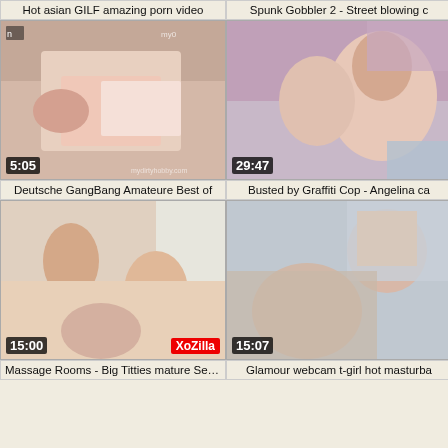Hot asian GILF amazing porn video
Spunk Gobbler 2 - Street blowing c
[Figure (photo): Video thumbnail 1, duration 5:05]
[Figure (photo): Video thumbnail 2, duration 29:47]
Deutsche GangBang Amateure Best of
Busted by Graffiti Cop - Angelina ca
[Figure (photo): Video thumbnail 3, duration 15:00, XoZilla brand]
[Figure (photo): Video thumbnail 4, duration 15:07]
Massage Rooms - Big Titties mature Served A
Glamour webcam t-girl hot masturba